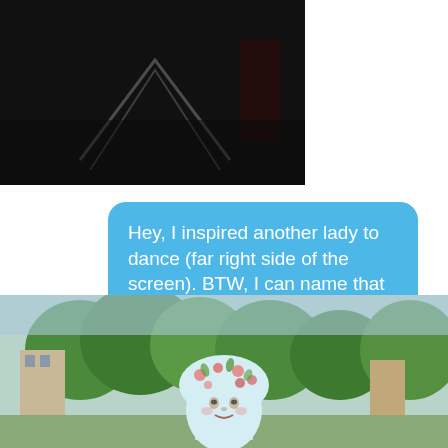[Figure (photo): Dark photo showing a person dancing, dark background with faint silhouette and reddish tones visible on far right side of screen]
Hey, I inspired another lady to dance (far right side of the screen). BTW, I can name that tune in five notes.
[Figure (photo): Outdoor photo showing a decorative ceramic or papier-mache figure of an elderly woman's head wearing a floral bonnet/headdress, with trees and buildings visible in the background]